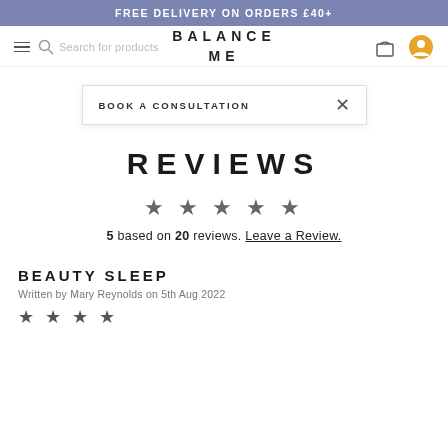FREE DELIVERY ON ORDERS £40+
[Figure (screenshot): Balance Me website navigation bar with hamburger menu, search icon, search placeholder text, brand logo, bag icon, and user profile icon]
BOOK A CONSULTATION   ×
REVIEWS
★ ★ ★ ★ ★
5 based on 20 reviews. Leave a Review.
BEAUTY SLEEP
Written by Mary Reynolds on 5th Aug 2022
★ ★ ★ ★